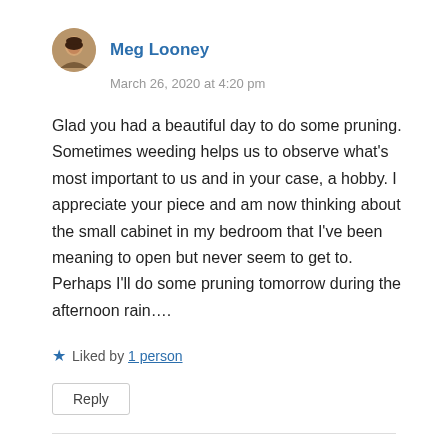[Figure (illustration): Circular avatar photo of a woman with dark hair]
Meg Looney
March 26, 2020 at 4:20 pm
Glad you had a beautiful day to do some pruning. Sometimes weeding helps us to observe what’s most important to us and in your case, a hobby. I appreciate your piece and am now thinking about the small cabinet in my bedroom that I’ve been meaning to open but never seem to get to. Perhaps I’ll do some pruning tomorrow during the afternoon rain….
★ Liked by 1 person
Reply